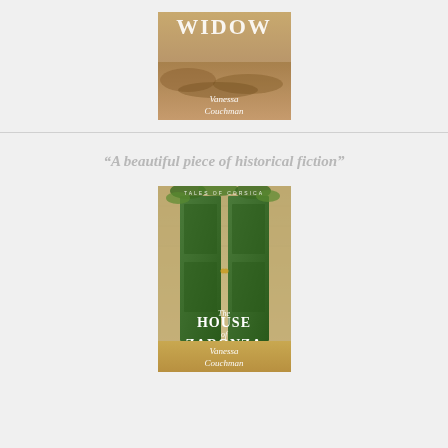[Figure (illustration): Book cover showing partial title 'WIDOW' with sandy/rocky landscape background, author name 'Vanessa Couchman' in italic text at bottom]
“A beautiful piece of historical fiction”
[Figure (illustration): Book cover for 'The House of Zaronza' from Tales of Corsica series by Vanessa Couchman, showing green ornate doors with ivy/vines growing over stone walls]